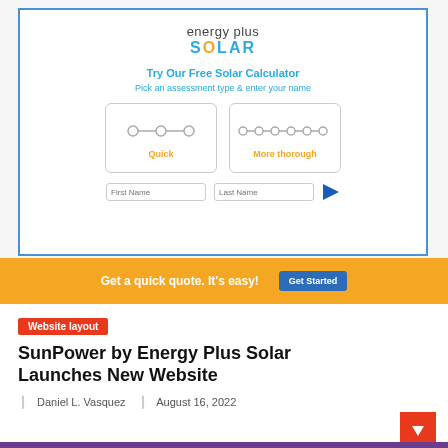[Figure (screenshot): Energy Plus Solar website screenshot showing a solar calculator with Quick and More thorough assessment options, First Name and Last Name input fields, and a blue arrow button. Logo shows 'energy plus SOLAR' at top.]
Get a quick quote. It's easy!
Get Started
Website layout
SunPower by Energy Plus Solar Launches New Website
Daniel L. Vasquez   August 16, 2022